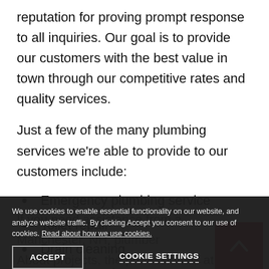reputation for proving prompt response to all inquiries. Our goal is to provide our customers with the best value in town through our competitive rates and quality services.
Just a few of the many plumbing services we're able to provide to our customers include:
Emergency plumbing service
Toilet repair
Drain cleaning
Water pumping
We use cookies to enable essential functionality on our website, and analyze website traffic. By clicking Accept you consent to our use of cookies. Read about how we use cookies.
ACCEPT
COOKIE SETTINGS